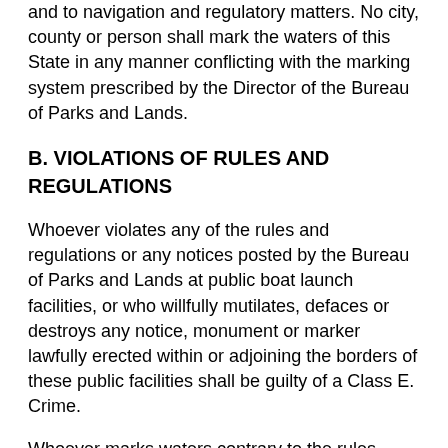and to navigation and regulatory matters. No city, county or person shall mark the waters of this State in any manner conflicting with the marking system prescribed by the Director of the Bureau of Parks and Lands.
B. VIOLATIONS OF RULES AND REGULATIONS
Whoever violates any of the rules and regulations or any notices posted by the Bureau of Parks and Lands at public boat launch facilities, or who willfully mutilates, defaces or destroys any notice, monument or marker lawfully erected within or adjoining the borders of these public facilities shall be guilty of a Class E. Crime.
Whoever marks waters contrary to the rules established by the Director of the Bureau of Parks and Lands shall be guilty of a Class E crime.
Whoever moors a watercraft to any buoy, beacon or permanent structure placed by the State or any organization authorized to place markers by permit in waters of this State, or in any manner makes fast thereto,